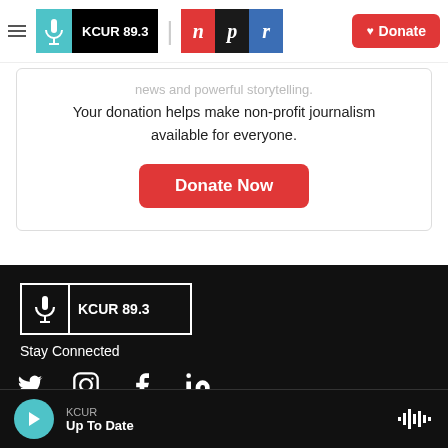KCUR 89.3 | NPR | Donate
news and powerful storytelling. Your donation helps make non-profit journalism available for everyone.
Donate Now
[Figure (logo): KCUR 89.3 logo in white on black background with white border]
Stay Connected
[Figure (infographic): Social media icons: Twitter, Instagram, Facebook, LinkedIn]
KCUR
Up To Date